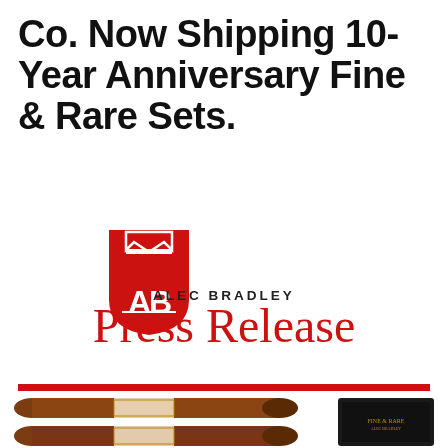Co. Now Shipping 10-Year Anniversary Fine & Rare Sets.
[Figure (logo): Alec Bradley shield logo — red shield with crown on top and stylized AB letters inside]
ALEC BRADLEY
Press Release
[Figure (photo): Red horizontal rule divider line]
[Figure (photo): Two cigars with band labels stacked horizontally on the left, and a black leather cigar case branded Fine & Rare on the right]